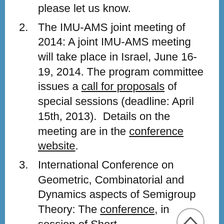please let us know.
The IMU-AMS joint meeting of 2014: A joint IMU-AMS meeting will take place in Israel, June 16-19, 2014. The program committee issues a call for proposals of special sessions (deadline: April 15th, 2013). Details on the meeting are in the conference website.
International Conference on Geometric, Combinatorial and Dynamics aspects of Semigroup Theory: The conference, in session of Short...